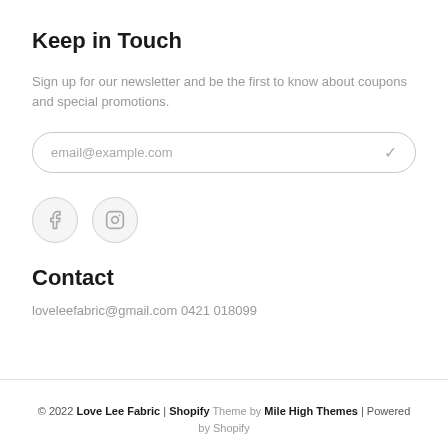Keep in Touch
Sign up for our newsletter and be the first to know about coupons and special promotions.
[Figure (other): Email input field with placeholder text 'email@example.com' and a checkmark icon, styled as a rounded rectangle input box]
[Figure (other): Two social media icons: Facebook (f) and Instagram (camera), both as outlined circles with light gray borders]
Contact
loveleefabric@gmail.com 0421 018099
© 2022 Love Lee Fabric | Shopify Theme by Mile High Themes | Powered by Shopify